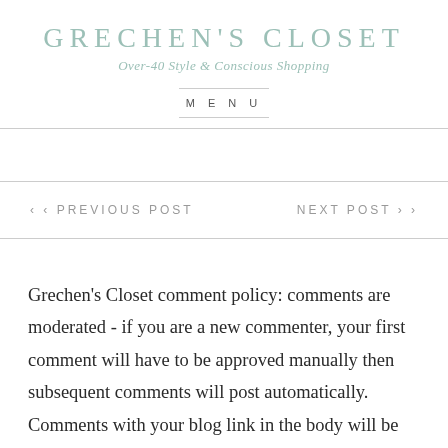GRECHEN'S CLOSET
Over-40 Style & Conscious Shopping
MENU
‹ ‹ PREVIOUS POST
NEXT POST › ›
Grechen's Closet comment policy: comments are moderated - if you are a new commenter, your first comment will have to be approved manually then subsequent comments will post automatically. Comments with your blog link in the body will be either deleted or your blog link will be edited out. If